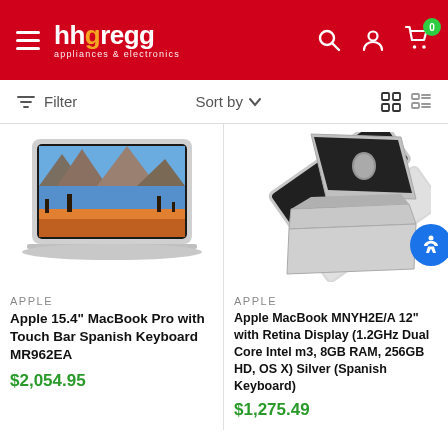hhgregg appliances & electronics
Filter  Sort by
[Figure (photo): Apple MacBook Pro laptop showing a mountain landscape on screen, silver, front view]
APPLE
Apple 15.4" MacBook Pro with Touch Bar Spanish Keyboard MR962EA
$2,054.95
[Figure (photo): Apple MacBook silver laptop shown at an angle, closed, with Apple logo visible]
APPLE
Apple MacBook MNYH2E/A 12" with Retina Display (1.2GHz Dual Core Intel m3, 8GB RAM, 256GB HD, OS X) Silver (Spanish Keyboard)
$1,275.49